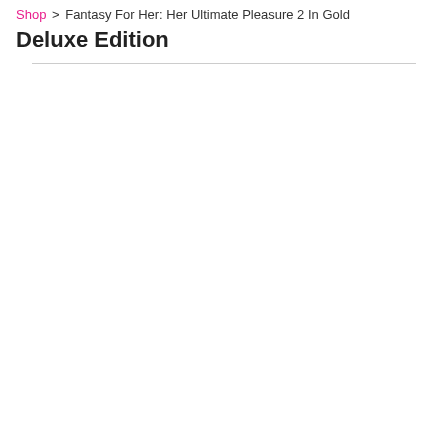Shop > Fantasy For Her: Her Ultimate Pleasure 2 In Gold Deluxe Edition